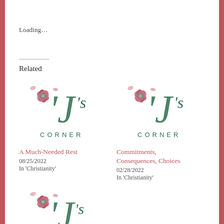Loading…
Related
[Figure (logo): J's Corner blog logo with floral decoration]
A Much-Needed Rest
08/25/2022
In 'Christianity'
[Figure (logo): J's Corner blog logo with floral decoration]
Commitments, Consequences, Choices
02/28/2022
In 'Christianity'
[Figure (logo): J's Corner blog logo with floral decoration (partial)]